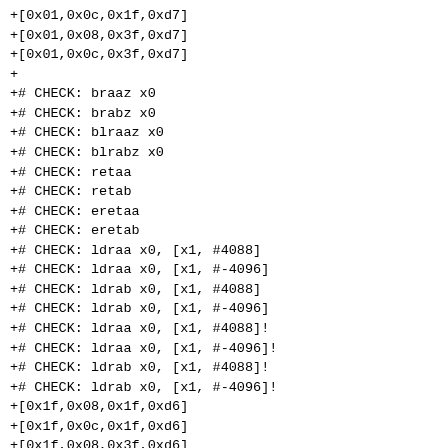+[0x01,0x0c,0x1f,0xd7]
+[0x01,0x08,0x3f,0xd7]
+[0x01,0x0c,0x3f,0xd7]
+
+# CHECK: braaz x0
+# CHECK: brabz x0
+# CHECK: blraaz x0
+# CHECK: blrabz x0
+# CHECK: retaa
+# CHECK: retab
+# CHECK: eretaa
+# CHECK: eretab
+# CHECK: ldraa x0, [x1, #4088]
+# CHECK: ldraa x0, [x1, #-4096]
+# CHECK: ldrab x0, [x1, #4088]
+# CHECK: ldrab x0, [x1, #-4096]
+# CHECK: ldraa x0, [x1, #4088]!
+# CHECK: ldraa x0, [x1, #-4096]!
+# CHECK: ldrab x0, [x1, #4088]!
+# CHECK: ldrab x0, [x1, #-4096]!
+[0x1f,0x08,0x1f,0xd6]
+[0x1f,0x0c,0x1f,0xd6]
+[0x1f,0x08,0x3f,0xd6]
+[0x1f,0x0c,0x3f,0xd6]
+[0xff,0x0b,0x5f,0xd6]
+[0xff,0x0f,0x5f,0xd6]
+[0xff,0x0b,0x9f,0xd6]
+[0xff,0x0f,0x9f,0xd6]
+[0x20,0xf4,0x3f,0xf8]
+[0x20,0x04,0x60,0xf8]